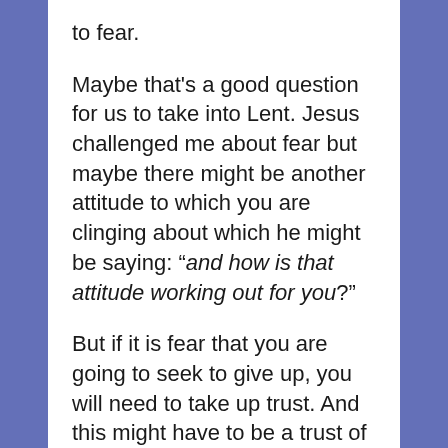to fear.
Maybe that's a good question for us to take into Lent. Jesus challenged me about fear but maybe there might be another attitude to which you are clinging about which he might be saying: “and how is that attitude working out for you?”
But if it is fear that you are going to seek to give up, you will need to take up trust. And this might have to be a trust of heroic proportions. So here is a good place to start: Jesus’s words to